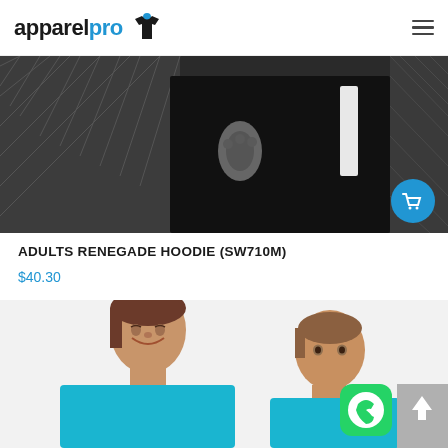apparelpro [logo with t-shirt icon and hamburger menu]
[Figure (photo): Black and white photo of a person gripping a chain-link fence, wearing a dark hoodie. A blue shopping cart icon button is in the lower right corner of the image.]
ADULTS RENEGADE HOODIE (SW710M)
$40.30
[Figure (photo): Color photo of two children smiling, wearing bright blue hoodies, against a light background. WhatsApp icon button and scroll-to-top arrow button are overlaid in the bottom right corner.]